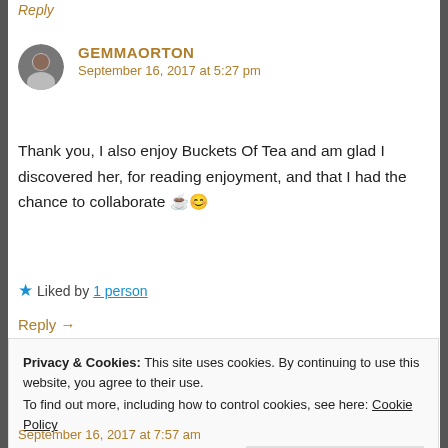Reply
GEMMAORTON
September 16, 2017 at 5:27 pm
Thank you, I also enjoy Buckets Of Tea and am glad I discovered her, for reading enjoyment, and that I had the chance to collaborate ☕😊
★ Liked by 1 person
Reply →
Privacy & Cookies: This site uses cookies. By continuing to use this website, you agree to their use.
To find out more, including how to control cookies, see here: Cookie Policy
Close and accept
September 16, 2017 at 7:57 am